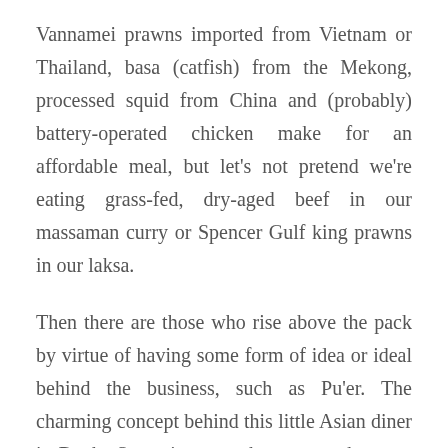Vannamei prawns imported from Vietnam or Thailand, basa (catfish) from the Mekong, processed squid from China and (probably) battery-operated chicken make for an affordable meal, but let's not pretend we're eating grass-fed, dry-aged beef in our massaman curry or Spencer Gulf king prawns in our laksa.
Then there are those who rise above the pack by virtue of having some form of idea or ideal behind the business, such as Pu'er. The charming concept behind this little Asian diner in Danks Street is to pay homage to the most sought-after teas of China, with a menu that showcases tea-friendly (and tea-steamed) dumplings – yum cha, after all, means "to drink As well, there is a fusion of pan-Asian dishes such as